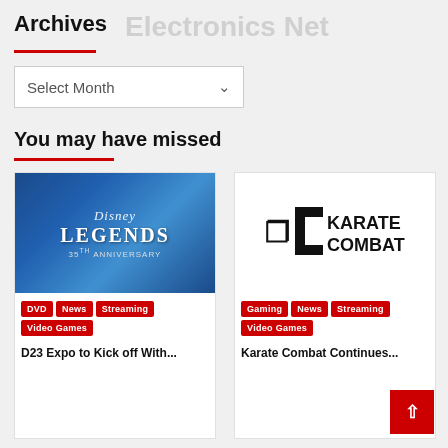Archives  Electronics Net
Select Month
You may have missed
[Figure (photo): Disney Legends 35th Anniversary promotional image with blue sparkle background]
DVD  News  Streaming  Video Games
D23 Expo to Kick off With...
[Figure (logo): Karate Combat logo in black on white background]
Gaming  News  Streaming  Video Games
Karate Combat Continues...